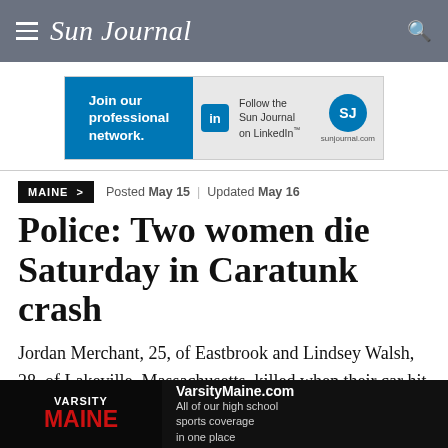Sun Journal
[Figure (infographic): LinkedIn advertisement banner: 'Join our professional network.' with LinkedIn logo, 'Follow the Sun Journal on LinkedIn' and SJ logo, sunjournal.com]
MAINE >   Posted May 15  |  Updated May 16
Police: Two women die Saturday in Caratunk crash
Jordan Merchant, 25, of Eastbrook and Lindsey Walsh, 28, of Lakeville, Massachusetts, killed when their car hit a tree after making contact with friend's
[Figure (infographic): VarsityMaine.com advertisement: 'All of our high school sports coverage in one place']